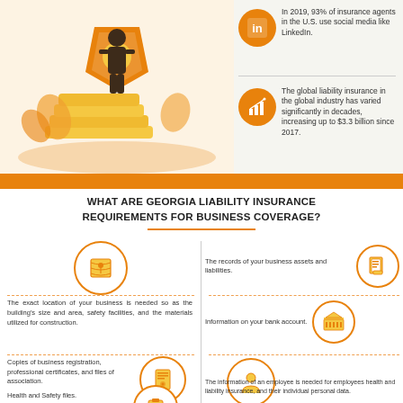[Figure (illustration): Person standing on gold coins with shield, orange background, insurance infographic illustration]
In 2019, 93% of insurance agents in the U.S. use social media like LinkedIn.
The global liability insurance in the global industry has varied significantly in decades, increasing up to $3.3 billion since 2017.
WHAT ARE GEORGIA LIABILITY INSURANCE REQUIREMENTS FOR BUSINESS COVERAGE?
The records of your business assets and liabilities.
The exact location of your business is needed so as the building's size and area, safety facilities, and the materials utilized for construction.
Information on your bank account.
Copies of business registration, professional certificates, and files of association.
The information of an employee is needed for employees health and liability insurance, and their individual personal data.
Health and Safety files.